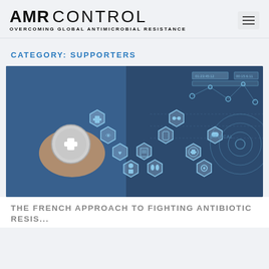AMR CONTROL — OVERCOMING GLOBAL ANTIMICROBIAL RESISTANCE
CATEGORY: SUPPORTERS
[Figure (photo): A medical professional holding a stethoscope with digital health technology icons overlaid, showing hexagonal medical icons and circular network diagrams in blue tones]
THE FRENCH APPROACH TO FIGHTING ANTIBIOTIC RESIS...